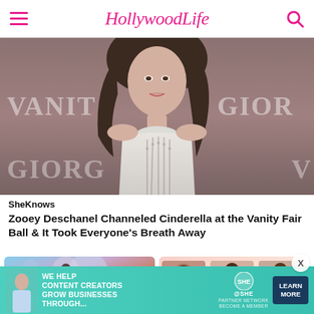HollywoodLife
[Figure (photo): Woman with long dark hair wearing a white embellished sleeveless turtleneck gown at a Vanity Fair / Giorgio Armani event backdrop]
SheKnows
Zooey Deschanel Channeled Cinderella at the Vanity Fair Ball & It Took Everyone's Breath Away
[Figure (photo): Thumbnail: woman inside a glowing bubble with desert and planet background]
[Figure (photo): Thumbnail: collage of three women on pink background]
[Figure (infographic): Advertisement banner: SHE Media Partner Network - We Help Content Creators Grow Businesses Through... Learn More]